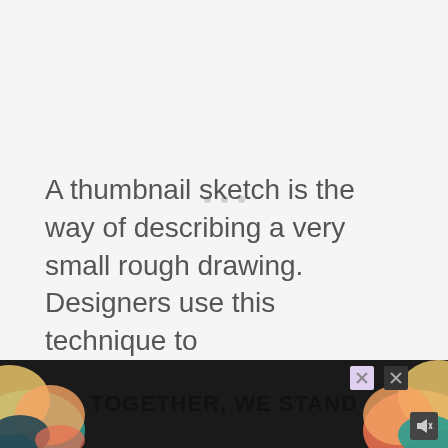[Figure (other): Loading spinner with three small grey dots centered on a light grey background, indicating content is loading.]
A thumbnail sketch is the way of describing a very small rough drawing. Designers use this technique to...
[Figure (other): Advertisement banner at the bottom reading TOGETHER, WE STAND with colorful blob shapes on sides and close/mute buttons.]